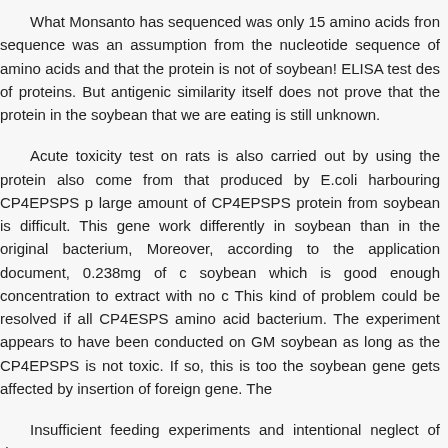What Monsanto has sequenced was only 15 amino acids from the sequence was an assumption from the nucleotide sequence of amino acids and that the protein is not of soybean! ELISA test des of proteins. But antigenic similarity itself does not prove that the protein in the soybean that we are eating is still unknown.
Acute toxicity test on rats is also carried out by using the protein also come from that produced by E.coli harbouring CP4EPSPS p large amount of CP4EPSPS protein from soybean is difficult. This gene work differently in soybean than in the original bacterium, Moreover, according to the application document, 0.238mg of c soybean which is good enough concentration to extract with no c This kind of problem could be resolved if all CP4ESPS amino acid bacterium. The experiment appears to have been conducted on GM soybean as long as the CP4EPSPS is not toxic. If so, this is too the soybean gene gets affected by insertion of foreign gene. The
Insufficient feeding experiments and intentional neglect of "inapp